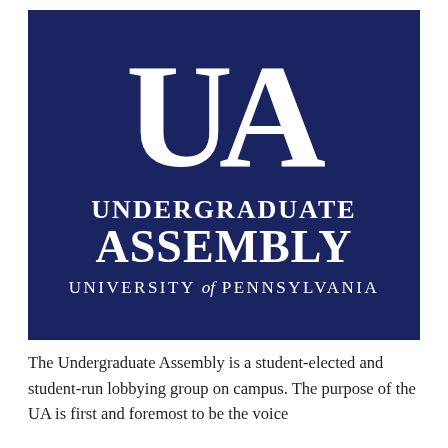[Figure (logo): Undergraduate Assembly logo — dark navy blue background with large white serif 'UA' letters, text 'UNDERGRADUATE ASSEMBLY' and 'University of Pennsylvania' below in white]
The Undergraduate Assembly is a student-elected and student-run lobbying group on campus. The purpose of the UA is first and foremost to be the voice